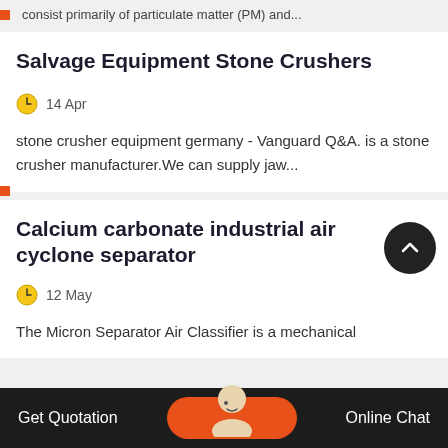consist primarily of particulate matter (PM) and...
Salvage Equipment Stone Crushers
14 Apr
stone crusher equipment germany - Vanguard Q&A. is a stone crusher manufacturer.We can supply jaw...
Calcium carbonate industrial air cyclone separator
12 May
The Micron Separator Air Classifier is a mechanical
Get Quotation    Online Chat